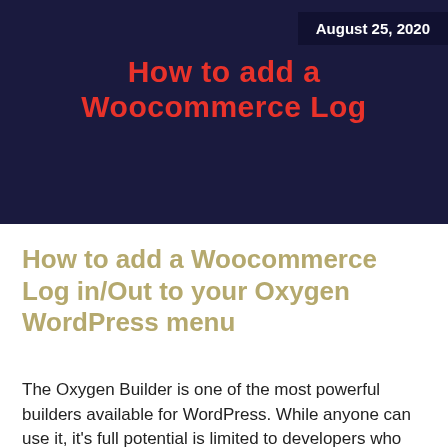August 25, 2020
How to add a Woocommerce Log
How to add a Woocommerce Log in/Out to your Oxygen WordPress menu
The Oxygen Builder is one of the most powerful builders available for WordPress. While anyone can use it, it's full potential is limited to developers who can harness